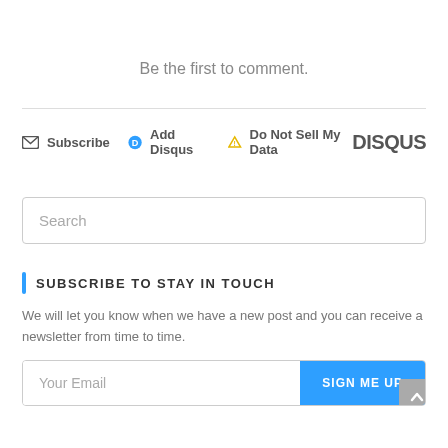Be the first to comment.
Subscribe  Add Disqus  Do Not Sell My Data  DISQUS
Search
SUBSCRIBE TO STAY IN TOUCH
We will let you know when we have a new post and you can receive a newsletter from time to time.
Your Email  SIGN ME UP